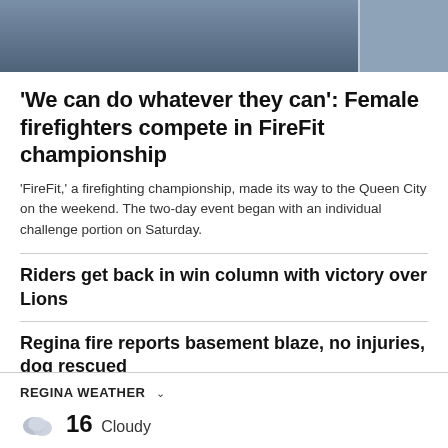[Figure (photo): Partial photo of two people in blue shirts/jerseys at the top of the page]
'We can do whatever they can': Female firefighters compete in FireFit championship
'FireFit,' a firefighting championship, made its way to the Queen City on the weekend. The two-day event began with an individual challenge portion on Saturday.
Riders get back in win column with victory over Lions
Regina fire reports basement blaze, no injuries, dog rescued
REGINA WEATHER
16 Cloudy